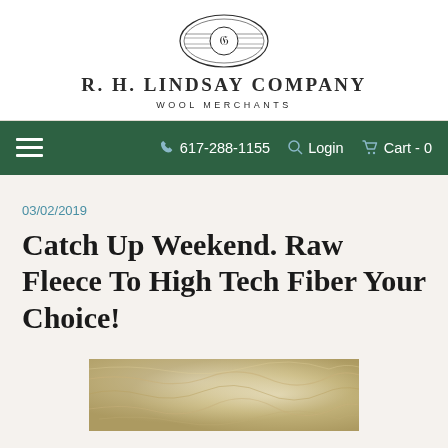R. H. LINDSAY COMPANY
WOOL MERCHANTS
617-288-1155   Login   Cart - 0
03/02/2019
Catch Up Weekend. Raw Fleece To High Tech Fiber Your Choice!
[Figure (photo): Close-up photograph of raw wool fleece, light cream/blonde colored fibers]